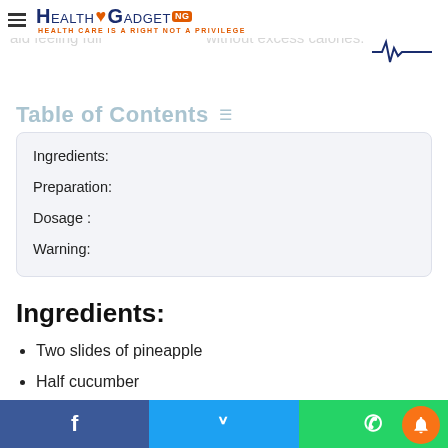Vegetables and fruits are low-calorie foods that aid feeling full without excess calories.
Health Gadget NG — Health Care is a Right Not a Privilege
Table of Contents
Ingredients:
Preparation:
Dosage :
Warning:
Ingredients:
Two slides of pineapple
Half cucumber
Two tablespoons of honey (optional)
A cup of water